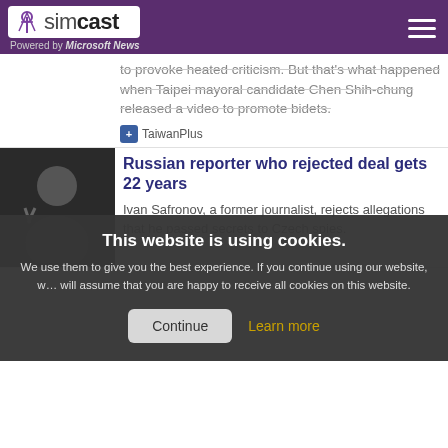simcast — Powered by Microsoft News
to provoke heated criticism. But that's what happened when Taipei mayoral candidate Chen Shih-chung released a video to promote bidets.
TaiwanPlus
Russian reporter who rejected deal gets 22 years
Ivan Safronov, a former journalist, rejects allegations that he passed secrets to Czech spies.
This website is using cookies. We use them to give you the best experience. If you continue using our website, we will assume that you are happy to receive all cookies on this website.
than half of that amount is for Taiwan's early warning surveillance radar.
TaiwanPlus
19 People Share What It Was Like